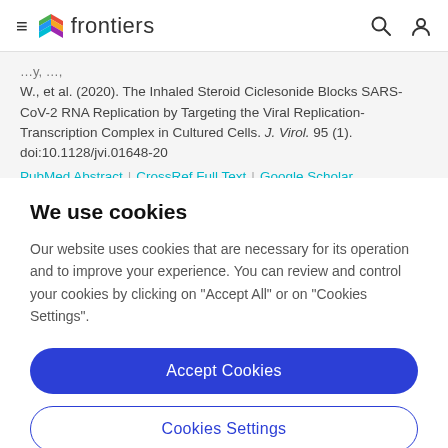frontiers
W., et al. (2020). The Inhaled Steroid Ciclesonide Blocks SARS-CoV-2 RNA Replication by Targeting the Viral Replication-Transcription Complex in Cultured Cells. J. Virol. 95 (1). doi:10.1128/jvi.01648-20
PubMed Abstract | CrossRef Full Text | Google Scholar
We use cookies
Our website uses cookies that are necessary for its operation and to improve your experience. You can review and control your cookies by clicking on "Accept All" or on "Cookies Settings".
Accept Cookies
Cookies Settings